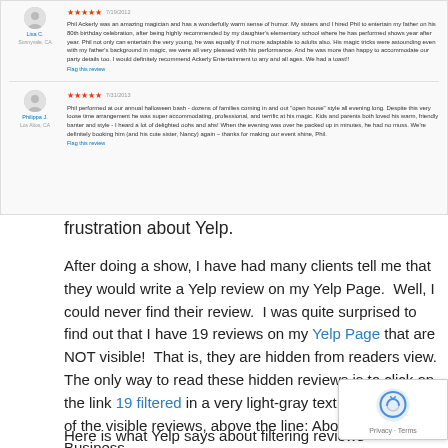[Figure (screenshot): Screenshot of two Yelp reviews for a magician/entertainer, showing star ratings, reviewer names, locations, and review text.]
frustration about Yelp.
After doing a show, I have had many clients tell me that they would write a Yelp review on my Yelp Page.  Well, I could never find their review.  I was quite surprised to find out that I have 19 reviews on my Yelp Page that are NOT visible!  That is, they are hidden from readers view. The only way to read these hidden reviews is to click on the link 19 filtered in a very light-gray text at the bottom of the visible reviews, above the line: About This Business.
Here is what Yelp says about filtering reviews